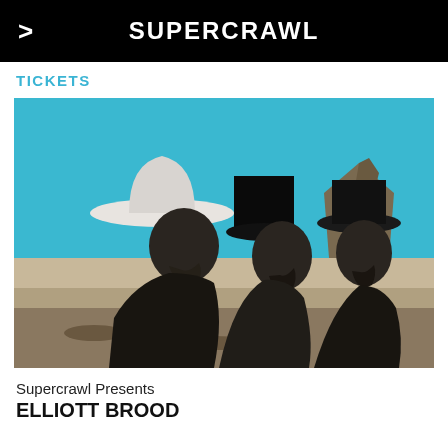SUPERCRAWL
TICKETS
[Figure (photo): Promotional photo for Elliott Brood: three men wearing hats (white cowboy hat, black fedora, dark hat) shown in profile against a teal/turquoise sky with Monument Valley butte landscape in black and white below.]
Supercrawl Presents
ELLIOTT BROOD